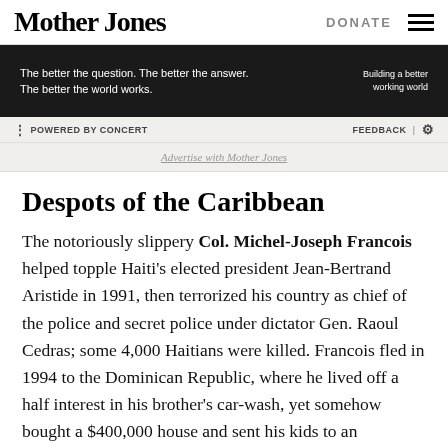Mother Jones | DONATE
[Figure (screenshot): Dark advertisement banner showing EY logo area with text 'The better the question. The better the answer. The better the world works.' and 'Building a better working world']
POWERED BY CONCERT   FEEDBACK | ⚙   Advertise with Mother Jones
Despots of the Caribbean
The notoriously slippery Col. Michel-Joseph Francois helped topple Haiti's elected president Jean-Bertrand Aristide in 1991, then terrorized his country as chief of the police and secret police under dictator Gen. Raoul Cedras; some 4,000 Haitians were killed. Francois fled in 1994 to the Dominican Republic, where he lived off a half interest in his brother's car-wash, yet somehow bought a $400,000 house and sent his kids to an exclusive